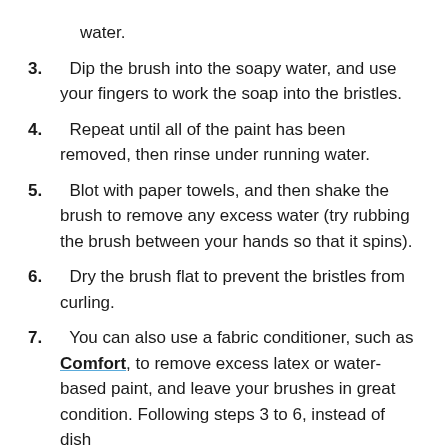water.
3. Dip the brush into the soapy water, and use your fingers to work the soap into the bristles.
4. Repeat until all of the paint has been removed, then rinse under running water.
5. Blot with paper towels, and then shake the brush to remove any excess water (try rubbing the brush between your hands so that it spins).
6. Dry the brush flat to prevent the bristles from curling.
7. You can also use a fabric conditioner, such as Comfort, to remove excess latex or water-based paint, and leave your brushes in great condition. Following steps 3 to 6, instead of dish